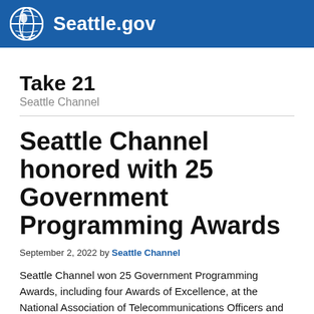Seattle.gov
Take 21
Seattle Channel
Seattle Channel honored with 25 Government Programming Awards
September 2, 2022 by Seattle Channel
Seattle Channel won 25 Government Programming Awards, including four Awards of Excellence, at the National Association of Telecommunications Officers and Advisors (NATOA) annual conference awards ceremony this week. The